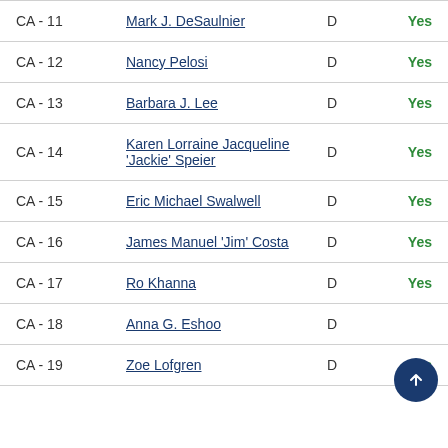| District | Name | Party | Vote |
| --- | --- | --- | --- |
| CA-11 | Mark J. DeSaulnier | D | Yes |
| CA-12 | Nancy Pelosi | D | Yes |
| CA-13 | Barbara J. Lee | D | Yes |
| CA-14 | Karen Lorraine Jacqueline 'Jackie' Speier | D | Yes |
| CA-15 | Eric Michael Swalwell | D | Yes |
| CA-16 | James Manuel 'Jim' Costa | D | Yes |
| CA-17 | Ro Khanna | D | Yes |
| CA-18 | Anna G. Eshoo | D | Yes |
| CA-19 | Zoe Lofgren | D | Yes |